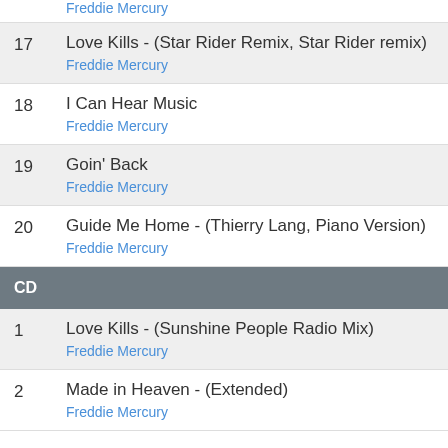Freddie Mercury
17 Love Kills - (Star Rider Remix, Star Rider remix)
Freddie Mercury
18 I Can Hear Music
Freddie Mercury
19 Goin' Back
Freddie Mercury
20 Guide Me Home - (Thierry Lang, Piano Version)
Freddie Mercury
CD
1 Love Kills - (Sunshine People Radio Mix)
Freddie Mercury
2 Made in Heaven - (Extended)
Freddie Mercury